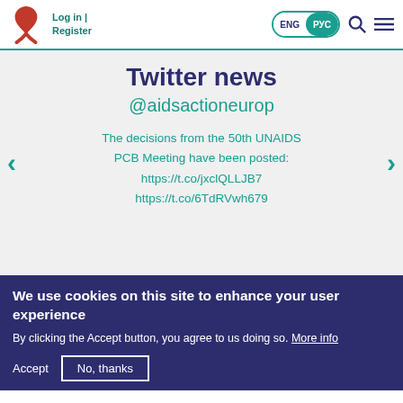Log in | Register  ENG  РУС
Twitter news
@aidsactioneurop
The decisions from the 50th UNAIDS PCB Meeting have been posted: https://t.co/jxclQLLJB7 https://t.co/6TdRVwh679
We use cookies on this site to enhance your user experience
By clicking the Accept button, you agree to us doing so. More info
Accept   No, thanks